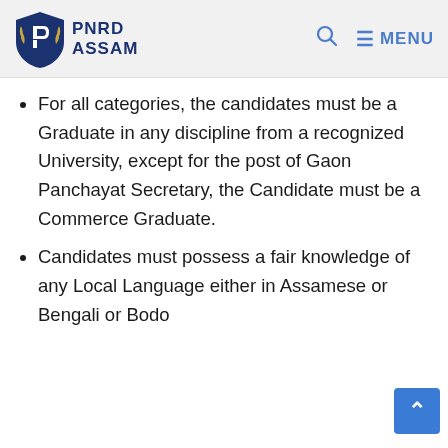PNRD ASSAM
For all categories, the candidates must be a Graduate in any discipline from a recognized University, except for the post of Gaon Panchayat Secretary, the Candidate must be a Commerce Graduate.
Candidates must possess a fair knowledge of any Local Language either in Assamese or Bengali or Bodo